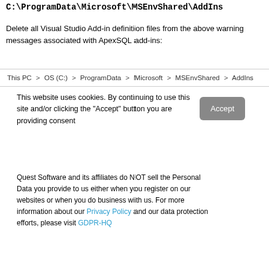C:\ProgramData\Microsoft\MSEnvShared\AddIns
Delete all Visual Studio Add-in definition files from the above warning messages associated with ApexSQL add-ins:
This PC > OS (C:) > ProgramData > Microsoft > MSEnvShared > AddIns
This website uses cookies. By continuing to use this site and/or clicking the "Accept" button you are providing consent
Quest Software and its affiliates do NOT sell the Personal Data you provide to us either when you register on our websites or when you do business with us. For more information about our Privacy Policy and our data protection efforts, please visit GDPR-HQ